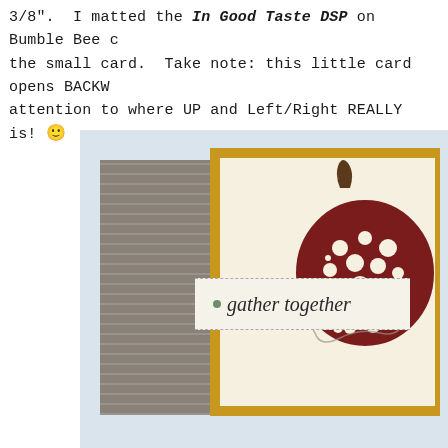3/8".  I matted the In Good Taste DSP on Bumble Bee card the small card.  Take note: this little card opens BACKW attention to where UP and Left/Right REALLY is! 🙂
[Figure (photo): Photograph of a handmade fall/autumn greeting card featuring a decorative pumpkin with a lacy dark red pattern, twine/string embellishment, and a tag reading 'gather together'. The card has layered mats: cream inner layer, yellow/gold mat, and a gray wood-grain patterned outer layer. Background is light blue-gray.]